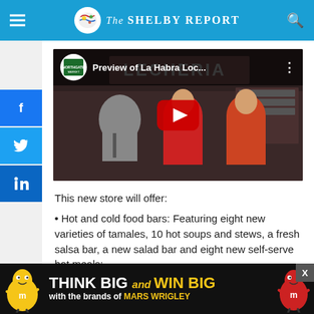The Shelby Report
[Figure (screenshot): YouTube video thumbnail showing 'Preview of La Habra Loc...' with Northgate Market logo, dark scene with people in background and red YouTube play button]
This new store will offer:
Hot and cold food bars: Featuring eight new varieties of tamales, 10 hot soups and stews, a fresh salsa bar, a new salad bar and eight new self-serve hot meals;
[Figure (other): Advertisement banner: THINK BIG and WIN BIG with the brands of MARS WRIGLEY, with M&M characters on sides]